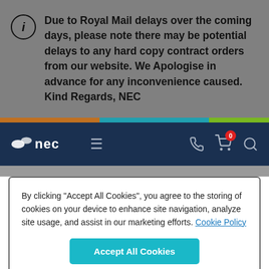Due to Royal Mail delays over the coming days, please note there may be potential delays to any hard copy contract orders from our website. We Apologise in advance for any inconvenience caused. Kind Regards, NEC
[Figure (screenshot): NEC website navigation bar with logo, hamburger menu, phone icon, shopping cart with badge showing 0, and search icon]
By clicking “Accept All Cookies”, you agree to the storing of cookies on your device to enhance site navigation, analyze site usage, and assist in our marketing efforts. Cookie Policy
Accept All Cookies